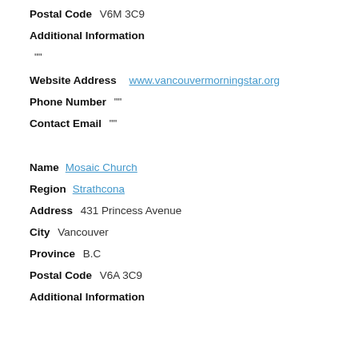Postal Code   V6M 3C9
Additional Information
""
Website Address   www.vancouvermorningstar.org
Phone Number   ""
Contact Email   ""
Name   Mosaic Church
Region   Strathcona
Address   431 Princess Avenue
City   Vancouver
Province   B.C
Postal Code   V6A 3C9
Additional Information